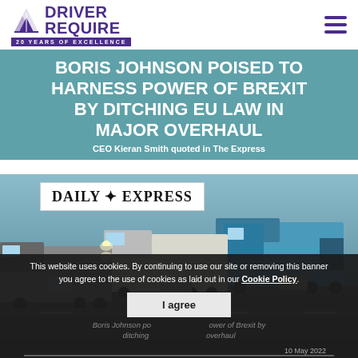Driver Require — 20 Years of Excellence
BORIS JOHNSON POISED TO HARNESS POWER OF BREXIT BY DITCHING EU LAW IN MAJOR OVERHAUL
CEO Kieran Smith quoted in The Express
[Figure (photo): Daily Express logo overlaid on a photograph of heavy goods trucks / lorries on a motorway, with multiple large trucks visible in traffic.]
This website uses cookies. By continuing to use our site or removing this banner you agree to the use of cookies as laid out in our Cookie Policy.
I agree
Boris Johnson poised to harness power of Brexit by ditching EU law in major overhaul
10 May 2022